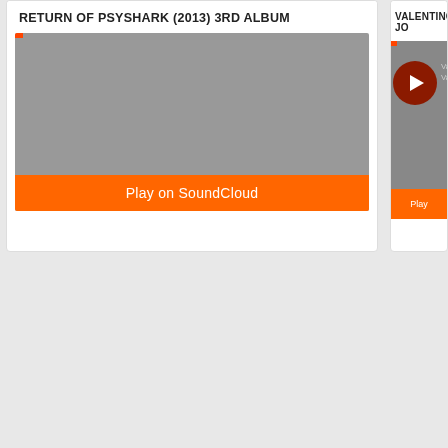Salvador Dali
Salvador Dali Limited edition print - Signed and numbered edition of 30- A3 Size (29.7 x 42.0cm) (11.69 x 16.53 i...
Read more
Timothy Leary
Timothy Leary Limited edition print - Signed and numbered edition of... 42.0cm) (11.69...
Read more
RETURN OF PSYSHARK (2013) 3RD ALBUM
[Figure (screenshot): SoundCloud embedded player with gray background and orange Play on SoundCloud button at the bottom]
VALENTINO JO
[Figure (screenshot): Partial SoundCloud player with dark red play circle button and orange Play button at bottom]